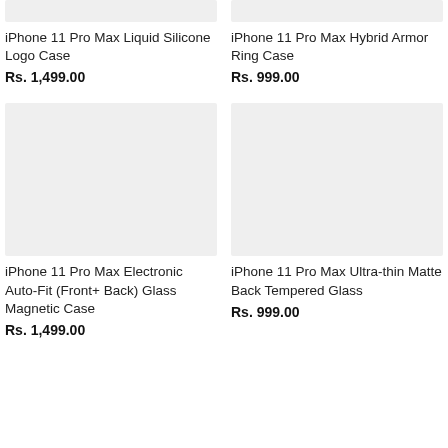[Figure (photo): iPhone 11 Pro Max Liquid Silicone Logo Case product image placeholder (light gray background)]
iPhone 11 Pro Max Liquid Silicone Logo Case
Rs. 1,499.00
[Figure (photo): iPhone 11 Pro Max Hybrid Armor Ring Case product image placeholder (light gray background)]
iPhone 11 Pro Max Hybrid Armor Ring Case
Rs. 999.00
[Figure (photo): iPhone 11 Pro Max Electronic Auto-Fit (Front+ Back) Glass Magnetic Case product image placeholder (light gray background)]
iPhone 11 Pro Max Electronic Auto-Fit (Front+ Back) Glass Magnetic Case
Rs. 1,499.00
[Figure (photo): iPhone 11 Pro Max Ultra-thin Matte Back Tempered Glass product image placeholder (light gray background)]
iPhone 11 Pro Max Ultra-thin Matte Back Tempered Glass
Rs. 999.00